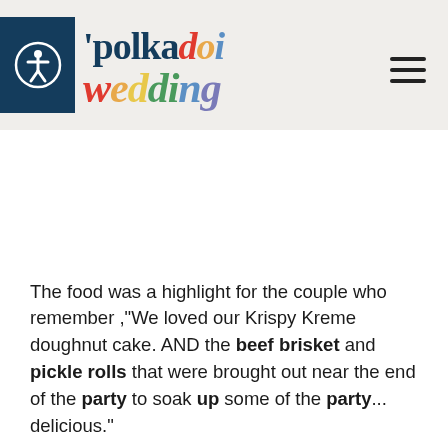[Figure (logo): Polka Dot Wedding logo with accessibility icon in dark navy box on left, text 'polka dot' in navy serif font above 'wedding' in multicolored serif font, hamburger menu icon on the right]
The food was a highlight for the couple who remember ,"We loved our Krispy Kreme doughnut cake. AND the beef brisket and pickle rolls that were brought out near the end of the party to soak up some of the party... delicious."